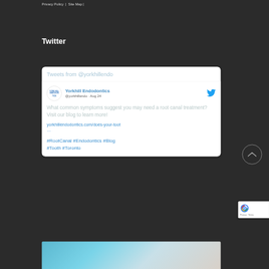Privacy Policy | Site Map |
Twitter
[Figure (screenshot): Twitter widget showing tweets from @yorkhillendo. Contains a tweet by Yorkhill Endodontics (@yorkhillendo · Aug 24) with text: 'What common symptoms suggest you may need a root canal treatment? Visit our blog to learn more!' with a link to yorkhillendodontics.com/does-your-toot... and hashtags #RootCanal #Endodontics #Blog #Tooth #Toronto]